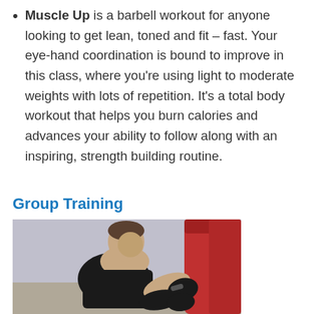Muscle Up is a barbell workout for anyone looking to get lean, toned and fit – fast. Your eye-hand coordination is bound to improve in this class, where you're using light to moderate weights with lots of repetition. It's a total body workout that helps you burn calories and advances your ability to follow along with an inspiring, strength building routine.
Group Training
[Figure (photo): A muscular man in a black tank top wearing black boxing gloves, leaning forward punching a large red punching bag. The background is light purple/grey gym setting.]